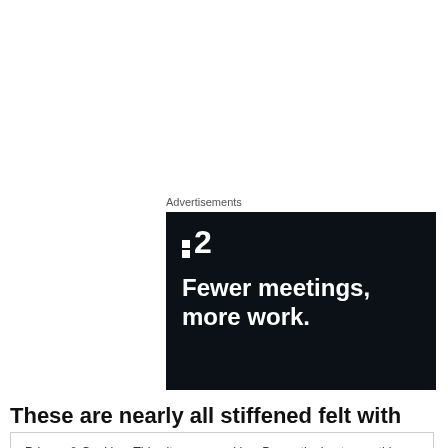Advertisements
[Figure (screenshot): Dark advertisement banner for a product/service showing a logo with two squares and the number 2, with the tagline 'Fewer meetings, more work.' on a near-black background.]
These are nearly all stiffened felt with bead embroidery
Privacy & Cookies: This site uses cookies. By continuing to use this website, you agree to their use.
To find out more, including how to control cookies, see here: Cookie Policy
Close and accept